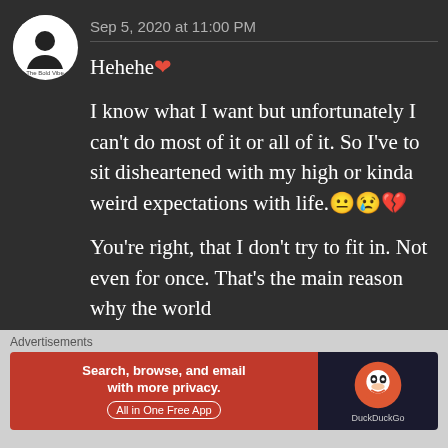Sep 5, 2020 at 11:00 PM
Hehehe❤️
I know what I want but unfortunately I can't do most of it or all of it. So I've to sit disheartened with my high or kinda weird expectations with life.😐😢💔
You're right, that I don't try to fit in. Not even for once. That's the main reason why the world
Advertisements
[Figure (screenshot): DuckDuckGo advertisement banner: orange left side with text 'Search, browse, and email with more privacy. All in One Free App', dark right side with DuckDuckGo logo and name.]